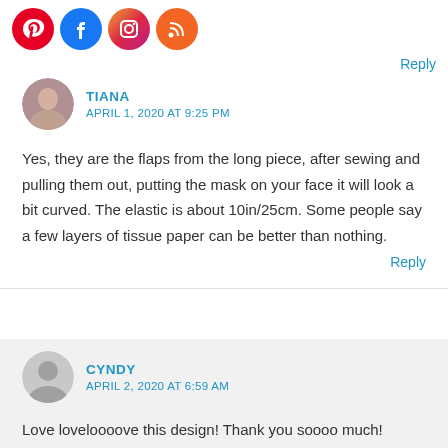[Figure (illustration): Social media icons: Pinterest (red circle), Facebook (blue circle), Instagram (purple/orange gradient circle), RSS feed (orange circle)]
Reply
TIANA
APRIL 1, 2020 AT 9:25 PM
Yes, they are the flaps from the long piece, after sewing and pulling them out, putting the mask on your face it will look a bit curved. The elastic is about 10in/25cm. Some people say a few layers of tissue paper can be better than nothing.
Reply
CYNDY
APRIL 2, 2020 AT 6:59 AM
Love loveloooove this design! Thank you soooo much!